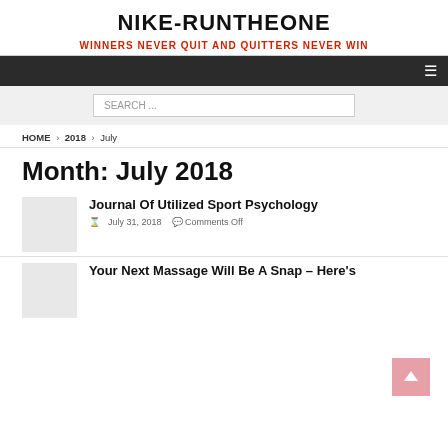NIKE-RUNTHEONE
WINNERS NEVER QUIT AND QUITTERS NEVER WIN
SEARCH ...
HOME › 2018 › July
Month: July 2018
Journal Of Utilized Sport Psychology
July 31, 2018   Comments Off
Your Next Massage Will Be A Snap – Here's